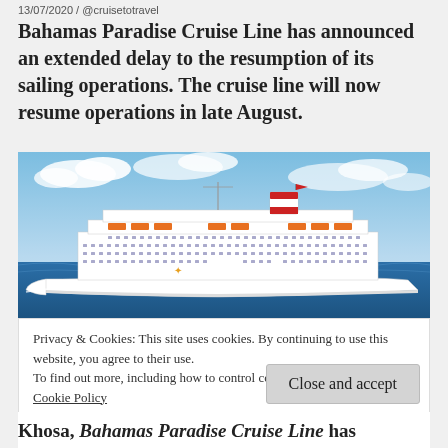13/07/2020 / @cruisetotravel
Bahamas Paradise Cruise Line has announced an extended delay to the resumption of its sailing operations. The cruise line will now resume operations in late August.
[Figure (photo): A large white cruise ship with orange and red funnel on blue ocean water under blue sky with clouds.]
Privacy & Cookies: This site uses cookies. By continuing to use this website, you agree to their use.
To find out more, including how to control cookies, see here:
Cookie Policy
Close and accept
Khosa, Bahamas Paradise Cruise Line has